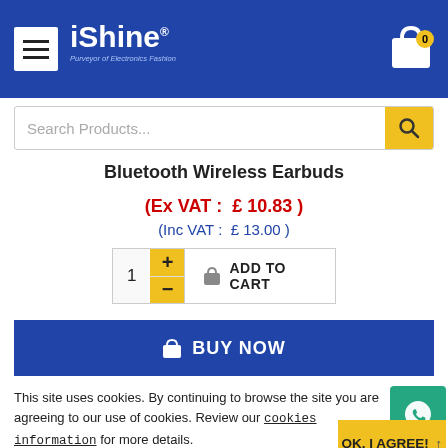iShine — Purveyor of Electronics Fashion
Bluetooth Wireless Earbuds
(Ex VAT :  £ 10.83 )
(Inc VAT :  £ 13.00 )
[Figure (screenshot): Quantity selector with + and - buttons, and ADD TO CART button]
BUY NOW
This site uses cookies. By continuing to browse the site you are agreeing to our use of cookies. Review our cookies information for more details.
OK, I AGREE!